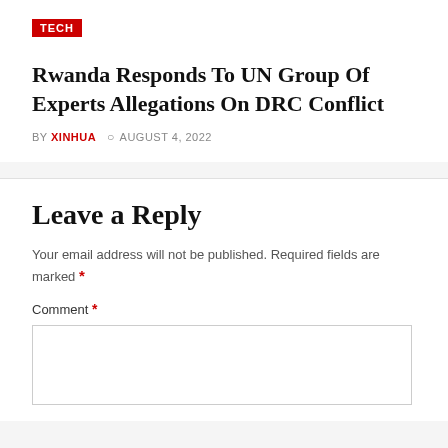TECH
Rwanda Responds To UN Group Of Experts Allegations On DRC Conflict
BY XINHUA  © AUGUST 4, 2022
Leave a Reply
Your email address will not be published. Required fields are marked *
Comment *